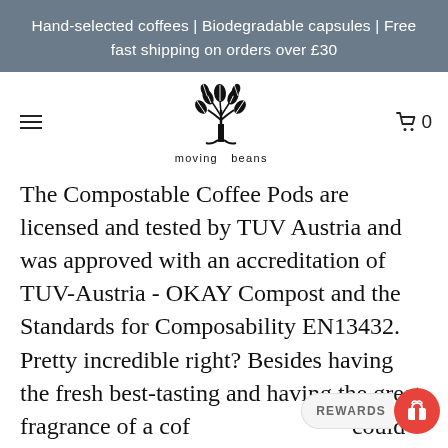Hand-selected coffees | Biodegradable capsules | Free fast shipping on orders over £30
[Figure (logo): Moving Beans logo: a stylized tree made of coffee beans with text 'moving beans' below]
The Compostable Coffee Pods are licensed and tested by TUV Austria and was approved with an accreditation of TUV-Austria - OKAY Compost and the Standards for Composability EN13432. Pretty incredible right? Besides having the fresh best-tasting and having the great fragrance of a cof could make in your Nespresso machine;